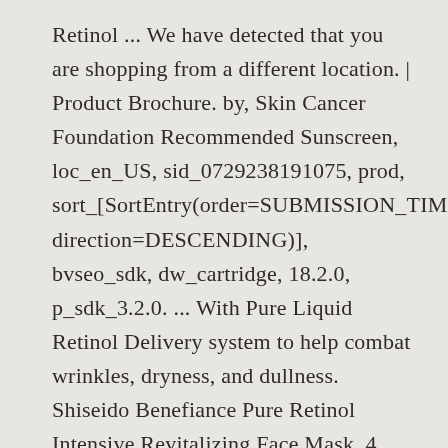Retinol ... We have detected that you are shopping from a different location. | Product Brochure. by, Skin Cancer Foundation Recommended Sunscreen, loc_en_US, sid_0729238191075, prod, sort_[SortEntry(order=SUBMISSION_TIME, direction=DESCENDING)], bvseo_sdk, dw_cartridge, 18.2.0, p_sdk_3.2.0. ... With Pure Liquid Retinol Delivery system to help combat wrinkles, dryness, and dullness. Shiseido Benefiance Pure Retinol Intensive Revitalizing Face Mask, 4 Pairs 4.7 out of 5 stars 42. The women used the new product with retinol as the active ingredient and a second product without retinol for nine weeks, before the